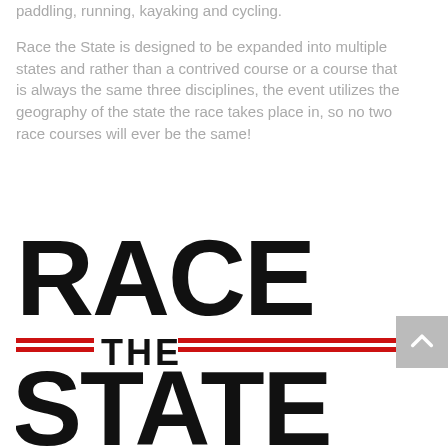paddling, running, kayaking and cycling.

Race the State is designed to be expanded into multiple states and rather than a contrived course or a course that is always the same three disciplines, the event utilizes the geography of the state the race takes place in, so no two race courses will ever be the same!
[Figure (logo): Race the State logo in large distressed bold black block letters. 'RACE' on top line, 'THE' in the middle with red double-line rule on each side, 'STATE' on the bottom line.]